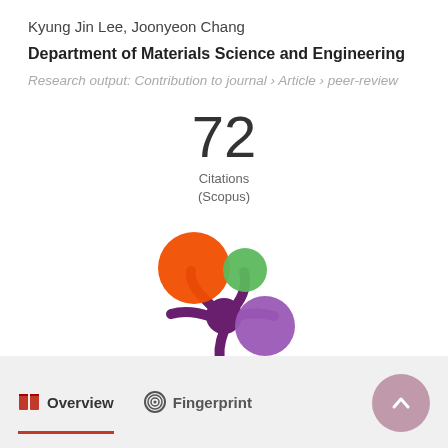Kyung Jin Lee, Joonyeon Chang
Department of Materials Science and Engineering
Research output: Contribution to journal › Article › peer-review
[Figure (infographic): 72 Citations (Scopus) badge]
[Figure (logo): Altmetric donut logo with orange, green, and purple circles connected by a purple splat shape]
Overview   Fingerprint